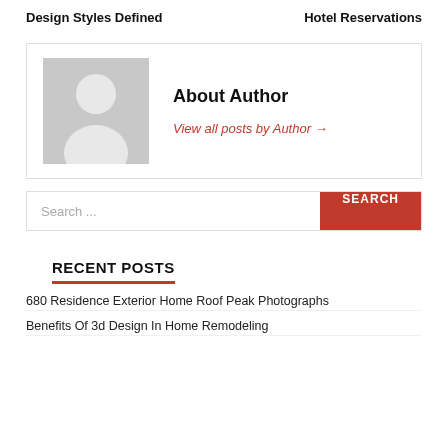Design Styles Defined   Hotel Reservations
[Figure (illustration): Author avatar placeholder showing a generic grey silhouette of a person]
About Author
View all posts by Author →
Search ...
RECENT POSTS
680 Residence Exterior Home Roof Peak Photographs
Benefits Of 3d Design In Home Remodeling